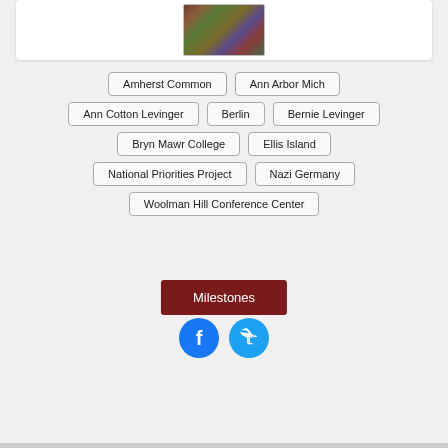[Figure (photo): Book cover image with colorful pattern, shown at top of page]
Amherst Common
Ann Arbor Mich
Ann Cotton Levinger
Berlin
Bernie Levinger
Bryn Mawr College
Ellis Island
National Priorities Project
Nazi Germany
Woolman Hill Conference Center
Milestones
[Figure (logo): Facebook and Twitter social media icons]